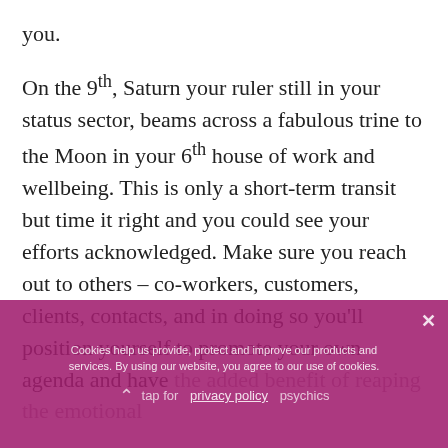you.
On the 9th, Saturn your ruler still in your status sector, beams across a fabulous trine to the Moon in your 6th house of work and wellbeing. This is only a short-term transit but time it right and you could see your efforts acknowledged. Make sure you reach out to others – co-workers, customers, clients, contacts, and in doing so you'll position yourself to promote your own agenda and have the added benefit of reaping the emotional satisfaction that comes from your own wellbeing.
Cookies help us provide, protect and improve our products and services. By using our website, you agree to our use of cookies. privacy policy
tap for psychics